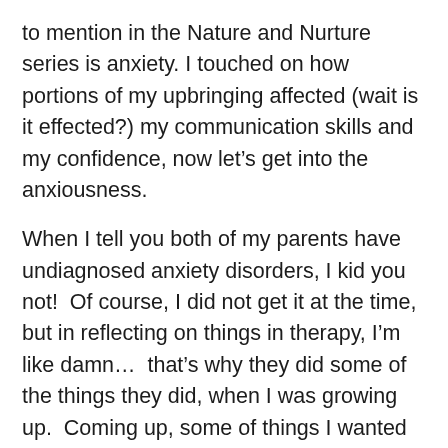to mention in the Nature and Nurture series is anxiety. I touched on how portions of my upbringing affected (wait is it effected?) my communication skills and my confidence, now let’s get into the anxiousness.
When I tell you both of my parents have undiagnosed anxiety disorders, I kid you not!  Of course, I did not get it at the time, but in reflecting on things in therapy, I’m like damn…  that’s why they did some of the things they did, when I was growing up.  Coming up, some of things I wanted to try/participate in, were met with fear, worry, and sometimes anger.  I know parents worry about their kids, my mom chalks it up to “a mother’s love”, but there is a difference between worry and concern.
In my mind, and correct me if I’m wrong, concern is